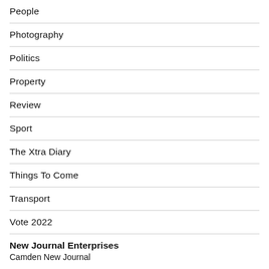People
Photography
Politics
Property
Review
Sport
The Xtra Diary
Things To Come
Transport
Vote 2022
New Journal Enterprises
Camden New Journal